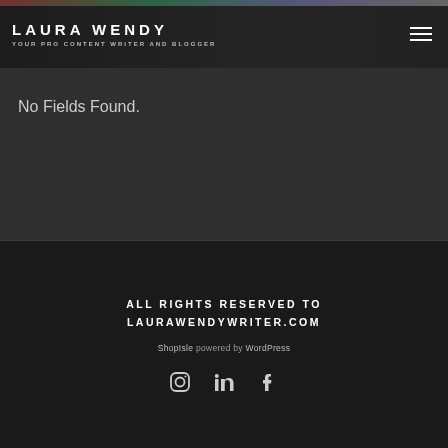LAURA WENDY
YOUR PRO CONTENT WRITER AND BLOGGER
No Fields Found.
ALL RIGHTS RESERVED TO LAURAWENDYWRITER.COM
ShopIsle powered by WordPress